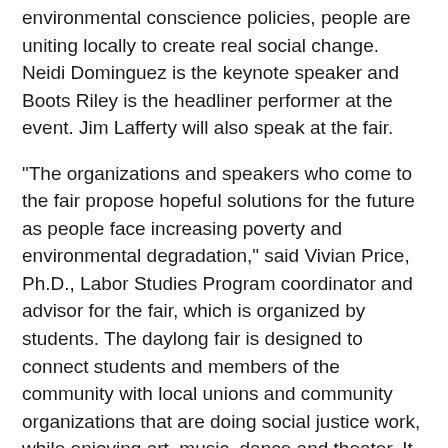environmental conscience policies, people are uniting locally to create real social change. Neidi Dominguez is the keynote speaker and Boots Riley is the headliner performer at the event. Jim Lafferty will also speak at the fair.
“The organizations and speakers who come to the fair propose hopeful solutions for the future as people face increasing poverty and environmental degradation,” said Vivian Price, Ph.D., Labor Studies Program coordinator and advisor for the fair, which is organized by students. The daylong fair is designed to connect students and members of the community with local unions and community organizations that are doing social justice work, while enjoying art, music, dance and theater. It is open to the public, with free entry, free food (while supplies last), and parking is only $5 for those without permits.
There will also be an evening event, 5:30 to 8PM, in the fifth floor of the University Library, South Wing. Award winning author, Lauren Coodley will be [Ask Teddy button] er new book on Upton Sinclair, California S… …tellectual in